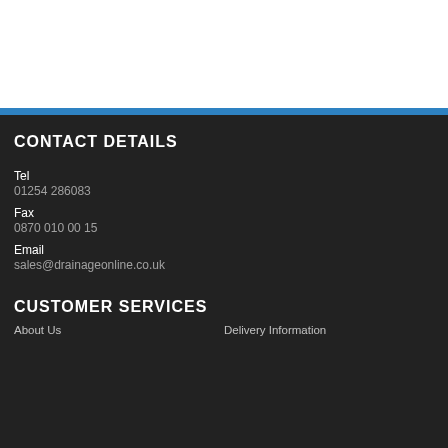CONTACT DETAILS
Tel
01254 286083
Fax
0870 010 00 15
Email
sales@drainageonline.co.uk
CUSTOMER SERVICES
About Us	Delivery Information